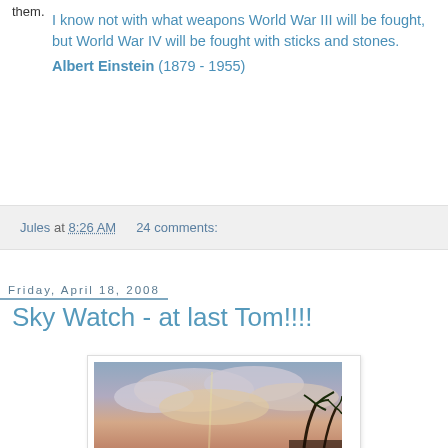them.
I know not with what weapons World War III will be fought, but World War IV will be fought with sticks and stones.
Albert Einstein (1879 - 1955)
Jules at 8:26 AM   24 comments:
Friday, April 18, 2008
Sky Watch - at last Tom!!!!
[Figure (photo): Sky photo showing clouds with orange/pink hues at sunset or sunrise, with silhouettes of palm trees at the bottom right.]